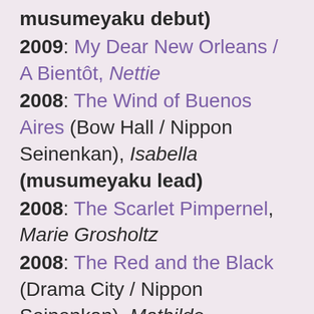musumeyaku debut)
2009: My Dear New Orleans / A Bientôt, Nettie
2008: The Wind of Buenos Aires (Bow Hall / Nippon Seinenkan), Isabella (musumeyaku lead)
2008: The Scarlet Pimpernel, Marie Grosholtz
2008: The Red and the Black (Drama City / Nippon Seinenkan), Mathilde
2008: The Tales of Hoffmann (Bow Hall), Antonia, Olympia, Gulietta
2007: Mahoroba / A Magician's Misfortunes, Eva
2007: Osaka Samurai